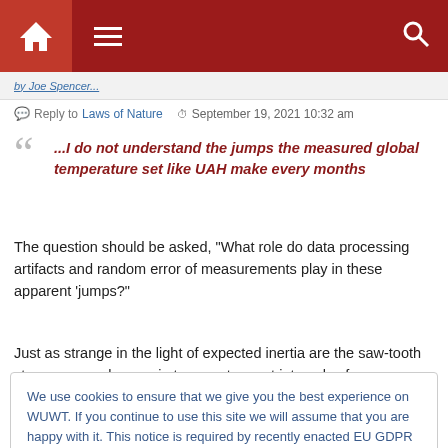Navigation bar with home, menu, and search icons
by Joe Spencer ...
Reply to Laws of Nature   September 19, 2021 10:32 am
"...I do not understand the jumps the measured global temperature set like UAH make every months"
The question should be asked, "What role do data processing artifacts and random error of measurements play in these apparent 'jumps?"
Just as strange in the light of expected inertia are the saw-tooth steps commonly seen in temperatures at intervals of
We use cookies to ensure that we give you the best experience on WUWT. If you continue to use this site we will assume that you are happy with it. This notice is required by recently enacted EU GDPR rules, and since WUWT is a globally read website, we need to keep the bureaucrats off our case! Cookie Policy
Close and accept